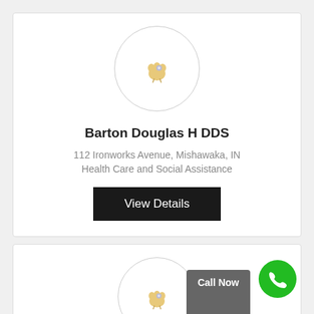[Figure (illustration): Tooth icon inside a light gray circle]
Barton Douglas H DDS
112 Ironworks Avenue, Mishawaka, IN
Health Care and Social Assistance
View Details
[Figure (illustration): Second card with tooth icon circle, Call Now button, and green phone button]